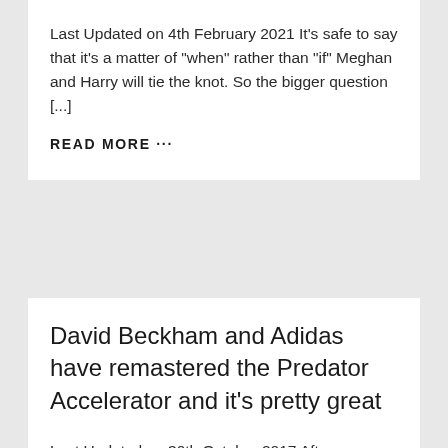Last Updated on 4th February 2021 It's safe to say that it's a matter of "when" rather than "if" Meghan and Harry will tie the knot. So the bigger question [...]
READ MORE ...
David Beckham and Adidas have remastered the Predator Accelerator and it's pretty great
Last Updated on 30th October 2017 After